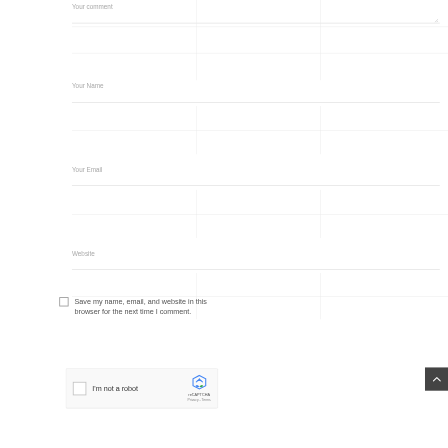Your comment
Your Name
Your Email
Website
Save my name, email, and website in this browser for the next time I comment.
[Figure (screenshot): reCAPTCHA widget with checkbox and 'I'm not a robot' text, reCAPTCHA logo and branding]
[Figure (other): Back to top button with upward caret arrow on dark background]